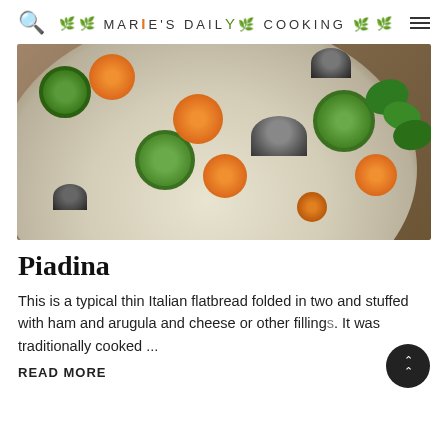MARIE'S DAILY COOKING
[Figure (photo): Top-down view of a round flatbread (piadina) topped with sliced carrots, zucchini rounds, mushrooms, and fresh basil leaves, on a wooden surface]
Piadina
This is a typical thin Italian flatbread folded in two and stuffed with ham and arugula and cheese or other fillings. It was traditionally cooked ...
READ MORE